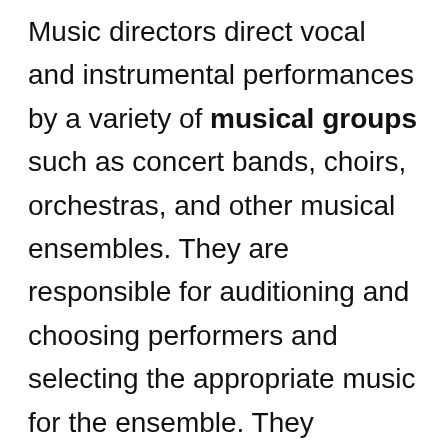Music directors direct vocal and instrumental performances by a variety of musical groups such as concert bands, choirs, orchestras, and other musical ensembles. They are responsible for auditioning and choosing performers and selecting the appropriate music for the ensemble. They consider a variety of factors to choose the music such as the size and abilities of the ensemble, need for musical variety, and availability of scores. They also provide constructive criticism and implement the necessary changes. Music directors are responsible for hiring conductors, composers, arrangers, and other related professionals. They